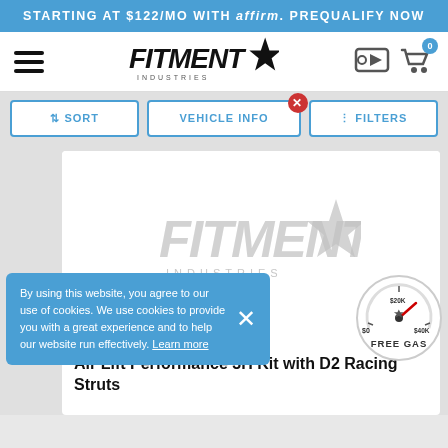STARTING AT $122/MO WITH affirm. PREQUALIFY NOW
[Figure (logo): Fitment Industries logo in navbar]
[Figure (logo): Fitment Industries watermark logo in product image area]
By using this website, you agree to our use of cookies. We use cookies to provide you with a great experience and to help our website run effectively. Learn more
[Figure (infographic): Free gas gauge badge showing $0, $20K, $40K with FREE GAS text]
Starting at $161/mo with affirm.
Air Lift Performance 3H Kit with D2 Racing Struts